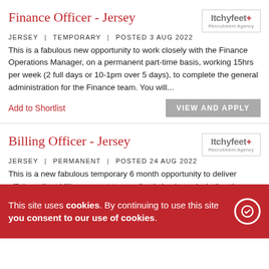Finance Officer - Jersey
JERSEY | TEMPORARY | POSTED 3 AUG 2022
This is a fabulous new opportunity to work closely with the Finance Operations Manager, on a permanent part-time basis, working 15hrs per week (2 full days or 10-1pm over 5 days), to complete the general administration for the Finance team. You will...
Add to Shortlist
VIEW AND APPLY
Billing Officer - Jersey
JERSEY | PERMANENT | POSTED 24 AUG 2022
This is a new fabulous temporary 6 month opportunity to deliver efficient client billing support to our client's business including the issuing of client bills, maintenance of data and schedules, and the day to day operations of the team. You will disc...
Add to Shortlist
This site uses cookies. By continuing to use this site you consent to our use of cookies.